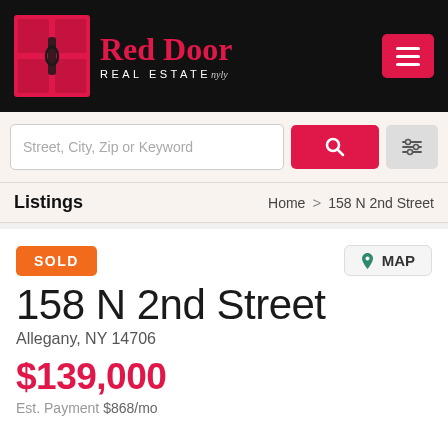Red Door Real Estate
Street, City, Zip or Keyword
Listings   Home > 158 N 2nd Street
SOLD
MAP
158 N 2nd Street
Allegany, NY 14706
$139,000
Est. Payment $868/mo